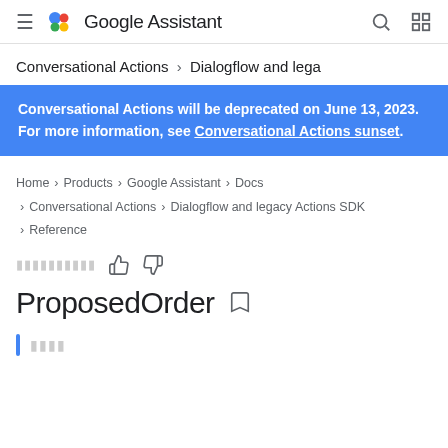Google Assistant
Conversational Actions > Dialogflow and lega
Conversational Actions will be deprecated on June 13, 2023. For more information, see Conversational Actions sunset.
Home > Products > Google Assistant > Docs > Conversational Actions > Dialogflow and legacy Actions SDK > Reference
ProposedOrder